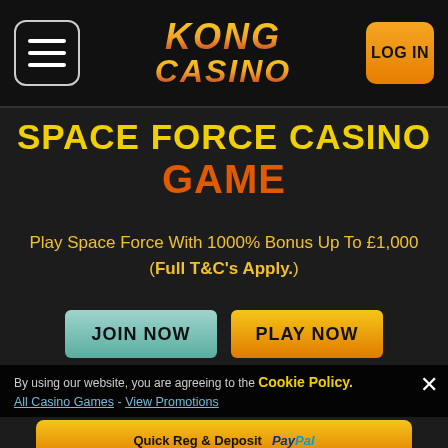Kong Casino
SPACE FORCE CASINO GAME
Play Space Force With 1000% Bonus Up To £1,000 (Full T&C's Apply.)
JOIN NOW
PLAY NOW
By using our website, you are agreeing to the Cookie Policy. All Casino Games - View Promotions
Quick Reg & Deposit     PayPal